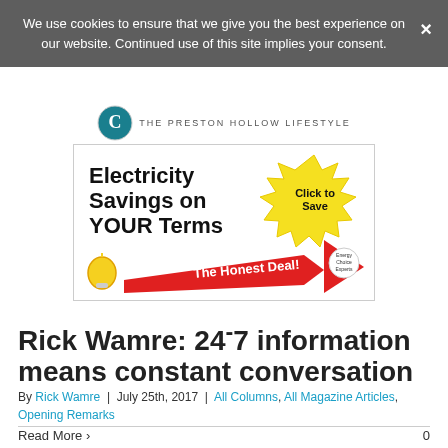We use cookies to ensure that we give you the best experience on our website. Continued use of this site implies your consent.
THE PRESTON HOLLOW LIFESTYLE
[Figure (illustration): Advertisement banner for electricity savings: 'Electricity Savings on YOUR Terms', 'The Honest Deal!', 'Click to Save', with a lightbulb and arrow graphic.]
Rick Wamre: 24-7 information means constant conversation
By Rick Wamre | July 25th, 2017 | All Columns, All Magazine Articles, Opening Remarks
Read More > 0